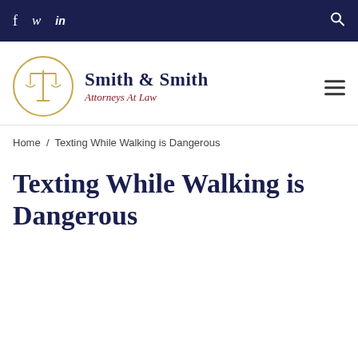f  ⟨twitter⟩  in  [search]
[Figure (logo): Smith & Smith Attorneys At Law logo with scales of justice in gold circle]
Home / Texting While Walking is Dangerous
Texting While Walking is Dangerous
Authors of a recent study report